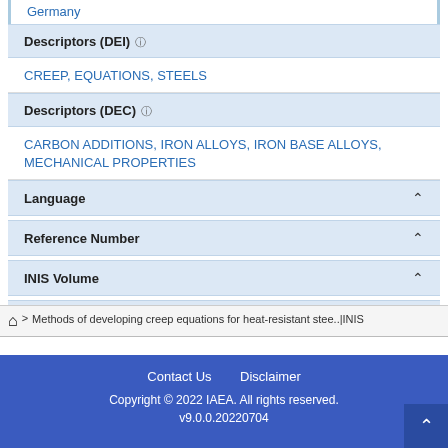Germany
Descriptors (DEI) ?
CREEP, EQUATIONS, STEELS
Descriptors (DEC) ?
CARBON ADDITIONS, IRON ALLOYS, IRON BASE ALLOYS, MECHANICAL PROPERTIES
Language
Reference Number
INIS Volume
INIS Issue
Methods of developing creep equations for heat-resistant stee..|INIS
Contact Us   Disclaimer
Copyright © 2022 IAEA. All rights reserved.
v9.0.0.20220704